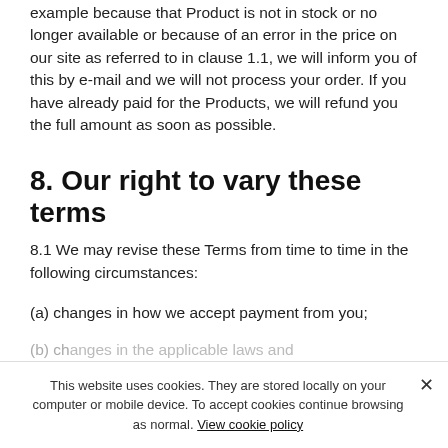example because that Product is not in stock or no longer available or because of an error in the price on our site as referred to in clause 1.1, we will inform you of this by e-mail and we will not process your order. If you have already paid for the Products, we will refund you the full amount as soon as possible.
8. Our right to vary these terms
8.1 We may revise these Terms from time to time in the following circumstances:
(a) changes in how we accept payment from you;
(b) changes in the applicable laws and regulations (partially obscured)
This website uses cookies. They are stored locally on your computer or mobile device. To accept cookies continue browsing as normal. View cookie policy